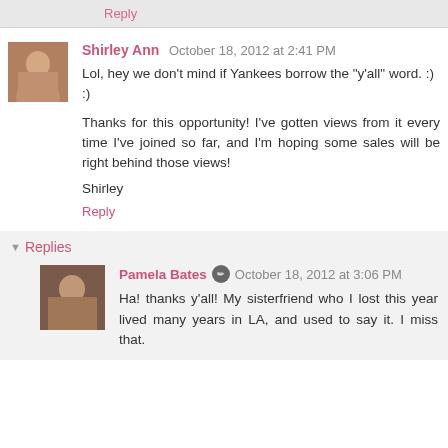Reply
Shirley Ann  October 18, 2012 at 2:41 PM
Lol, hey we don't mind if Yankees borrow the "y'all" word. :) :)

Thanks for this opportunity! I've gotten views from it every time I've joined so far, and I'm hoping some sales will be right behind those views!

Shirley
Reply
Replies
Pamela Bates  October 18, 2012 at 3:06 PM
Ha! thanks y'all! My sisterfriend who I lost this year lived many years in LA, and used to say it. I miss that.